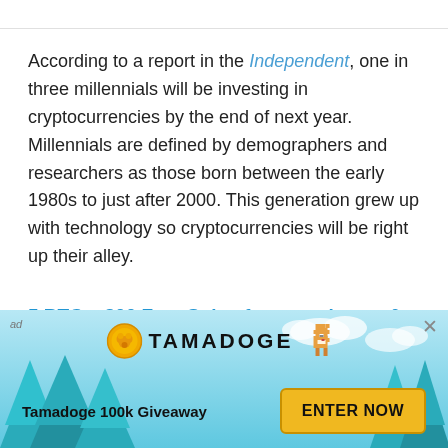According to a report in the Independent, one in three millennials will be investing in cryptocurrencies by the end of next year. Millennials are defined by demographers and researchers as those born between the early 1980s to just after 2000. This generation grew up with technology so cryptocurrencies will be right up their alley.
5 BTC + 300 Free Spins for new players & 15 BTC + 35.000 Free Spins every month, only at
[Figure (infographic): Tamadoge advertisement banner with teal/sky background, pine trees, Tamadoge coin logo, pixel-art dog, text 'Tamadoge 100k Giveaway' and yellow 'ENTER NOW' button. Ad label and close button visible.]